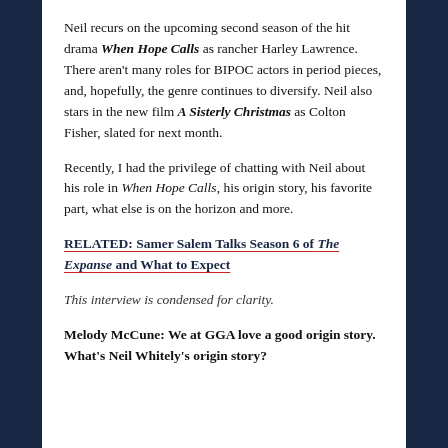Neil recurs on the upcoming second season of the hit drama When Hope Calls as rancher Harley Lawrence. There aren't many roles for BIPOC actors in period pieces, and, hopefully, the genre continues to diversify. Neil also stars in the new film A Sisterly Christmas as Colton Fisher, slated for next month.
Recently, I had the privilege of chatting with Neil about his role in When Hope Calls, his origin story, his favorite part, what else is on the horizon and more.
RELATED: Samer Salem Talks Season 6 of The Expanse and What to Expect
This interview is condensed for clarity.
Melody McCune: We at GGA love a good origin story. What's Neil Whitely's origin story?